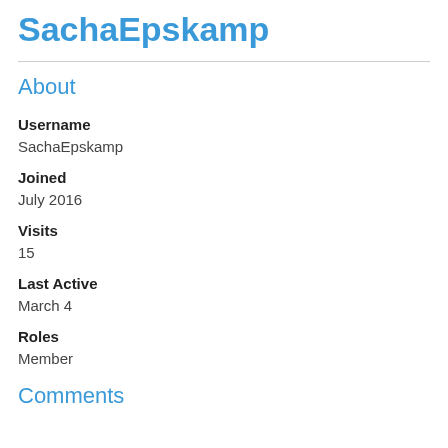SachaEpskamp
About
Username
SachaEpskamp
Joined
July 2016
Visits
15
Last Active
March 4
Roles
Member
Comments